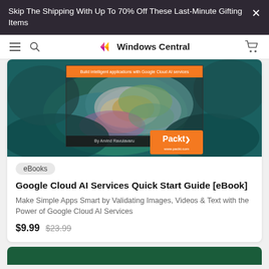Skip The Shipping With Up To 70% Off These Last-Minute Gifting Items
[Figure (screenshot): Windows Central navigation bar with hamburger menu, search icon, Windows Central logo with colored diamonds, and cart icon]
[Figure (photo): Book cover for 'Google Cloud AI Services Quick Start Guide' by Arvind Ravulavaru, published by Packt. Shows colorful abstract cloud of paint explosion on dark background with orange Packt logo in bottom right corner. Orange banner at top reads: Build intelligent applications with Google Cloud AI services.]
eBooks
Google Cloud AI Services Quick Start Guide [eBook]
Make Simple Apps Smart by Validating Images, Videos & Text with the Power of Google Cloud AI Services
$9.99  $23.99